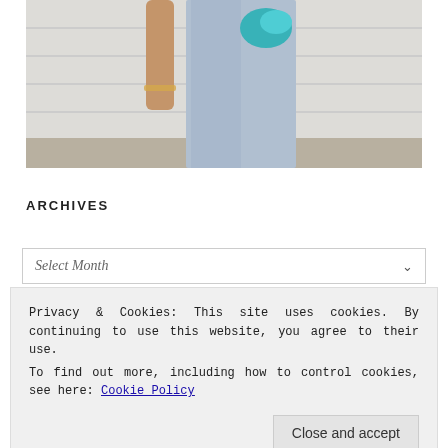[Figure (photo): A partial view of a person wearing light blue/grey wide-leg trousers and holding a teal/turquoise clutch bag, standing against a white painted brick wall. Only the torso and legs are visible. One arm (wearing a bracelet) is visible on the left side.]
ARCHIVES
Select Month
Privacy & Cookies: This site uses cookies. By continuing to use this website, you agree to their use.
To find out more, including how to control cookies, see here: Cookie Policy
Close and accept